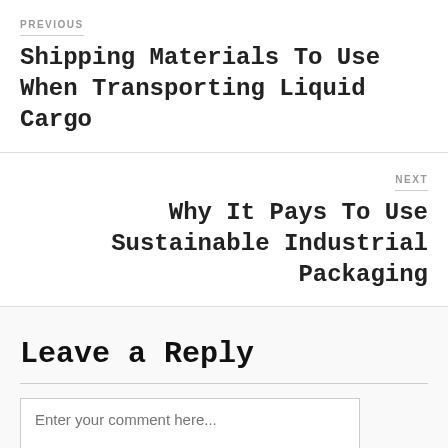PREVIOUS
Shipping Materials To Use When Transporting Liquid Cargo
NEXT
Why It Pays To Use Sustainable Industrial Packaging
Leave a Reply
Enter your comment here...